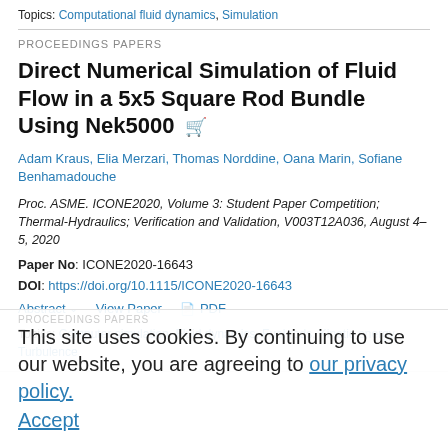Topics: Computational fluid dynamics, Simulation
PROCEEDINGS PAPERS
Direct Numerical Simulation of Fluid Flow in a 5x5 Square Rod Bundle Using Nek5000
Adam Kraus, Elia Merzari, Thomas Norddine, Oana Marin, Sofiane Benhamadouche
Proc. ASME. ICONE2020, Volume 3: Student Paper Competition; Thermal-Hydraulics; Verification and Validation, V003T12A036, August 4–5, 2020
Paper No: ICONE2020-16643
DOI: https://doi.org/10.1115/ICONE2020-16643
Abstract  View Paper  PDF
Topics: Computer simulation, Fluid dynamics, Fuel rods, Kinetic energy, Turbulence
This site uses cookies. By continuing to use our website, you are agreeing to our privacy policy. Accept